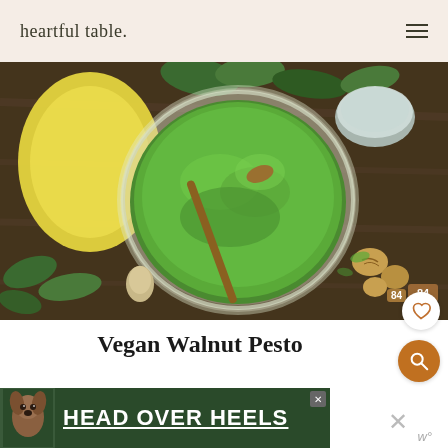heartful table.
[Figure (photo): Overhead view of a glass jar filled with vibrant green walnut pesto, with a wooden spoon inside, surrounded by lemon, garlic, walnuts, and fresh herbs on a dark wooden board.]
Vegan Walnut Pesto
By Maša Ofei | Posted on February 5, 2022
[Figure (other): Advertisement banner with a dog image and text HEAD OVER HEELS in large bold letters on a dark green background.]